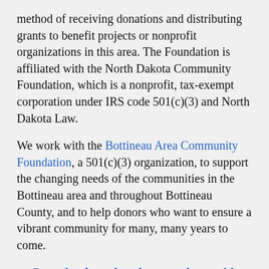method of receiving donations and distributing grants to benefit projects or nonprofit organizations in this area. The Foundation is affiliated with the North Dakota Community Foundation, which is a nonprofit, tax-exempt corporation under IRS code 501(c)(3) and North Dakota Law.
We work with the Bottineau Area Community Foundation, a 501(c)(3) organization, to support the changing needs of the communities in the Bottineau area and throughout Bottineau County, and to help donors who want to ensure a vibrant community for many, many years to come.
Download our brochure to share with family and friends!